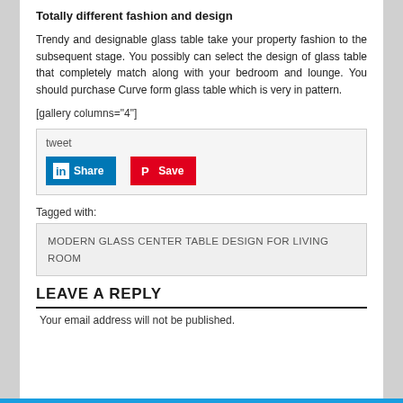Totally different fashion and design
Trendy and designable glass table take your property fashion to the subsequent stage. You possibly can select the design of glass table that completely match along with your bedroom and lounge. You should purchase Curve form glass table which is very in pattern.
[gallery columns="4"]
tweet
[Figure (other): LinkedIn Share button and Pinterest Save button]
Tagged with:
MODERN GLASS CENTER TABLE DESIGN FOR LIVING ROOM
LEAVE A REPLY
Your email address will not be published.